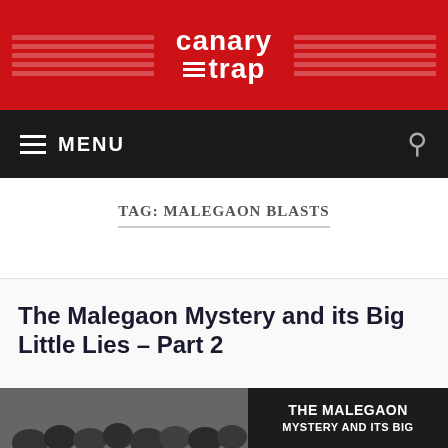canary trap
TAG: MALEGAON BLASTS
The Malegaon Mystery and its Big Little Lies – Part 2
[Figure (photo): Black and white crowd photo with overlaid text reading THE MALEGAON MYSTERY AND ITS BIG]